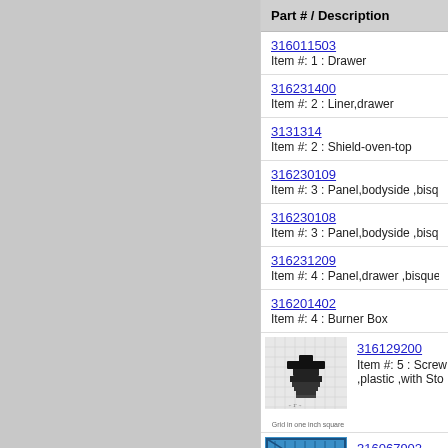| Part # / Description |
| --- |
| 316011503
Item #: 1 : Drawer |
| 316231400
Item #: 2 : Liner,drawer |
| 3131314
Item #: 2 : Shield-oven-top |
| 316230109
Item #: 3 : Panel,bodyside ,bisque , |
| 316230108
Item #: 3 : Panel,bodyside ,bisque , |
| 316231209
Item #: 4 : Panel,drawer ,bisque |
| 316201402
Item #: 4 : Burner Box |
| 316129200
Item #: 5 : Screw ,plastic ,with Sto |
| 316067902
Item #: 6 : Rack, |